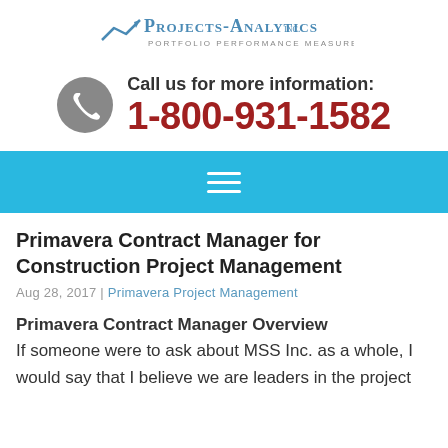[Figure (logo): Projects Analytics Inc. logo — PORTFOLIO PERFORMANCE MEASUREMENTS]
Call us for more information:
1-800-931-1582
[Figure (other): Cyan navigation bar with hamburger menu icon]
Primavera Contract Manager for Construction Project Management
Aug 28, 2017 | Primavera Project Management
Primavera Contract Manager Overview
If someone were to ask about MSS Inc. as a whole, I would say that I believe we are leaders in the project